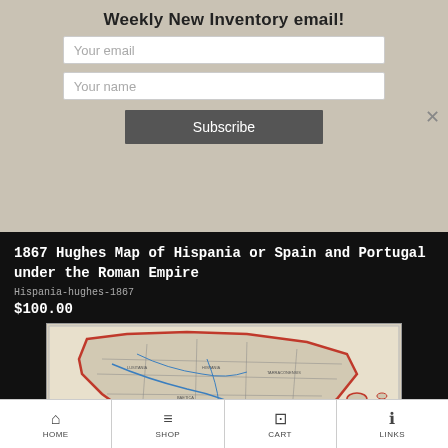Weekly New Inventory email!
Your email
Your name
Subscribe
1867 Hughes Map of Hispania or Spain and Portugal under the Roman Empire
Hispania-hughes-1867
$100.00
[Figure (map): Antique map of Hispania (Spain and Portugal) under the Roman Empire, 1867, showing coastlines outlined in red, interior regions with place names, rivers in blue, and islands to the southeast including Balearic Islands.]
HOME   SHOP   CART   LINKS